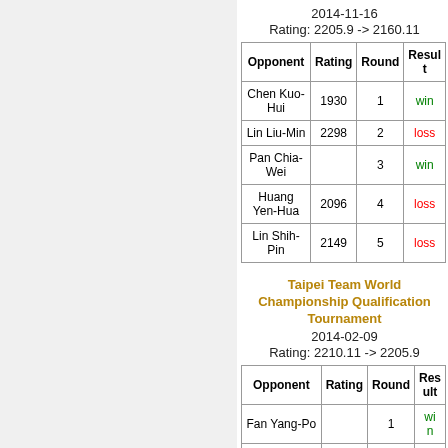2014-11-16
Rating: 2205.9 -> 2160.11
| Opponent | Rating | Round | Result |
| --- | --- | --- | --- |
| Chen Kuo-Hui | 1930 | 1 | win |
| Lin Liu-Min | 2298 | 2 | loss |
| Pan Chia-Wei |  | 3 | win |
| Huang Yen-Hua | 2096 | 4 | loss |
| Lin Shih-Pin | 2149 | 5 | loss |
Taipei Team World Championship Qualification Tournament
2014-02-09
Rating: 2210.11 -> 2205.9
| Opponent | Rating | Round | Result |
| --- | --- | --- | --- |
| Fan Yang-Po |  | 1 | win |
| Yang Yu-Hsiung | 2191 | 2 | win |